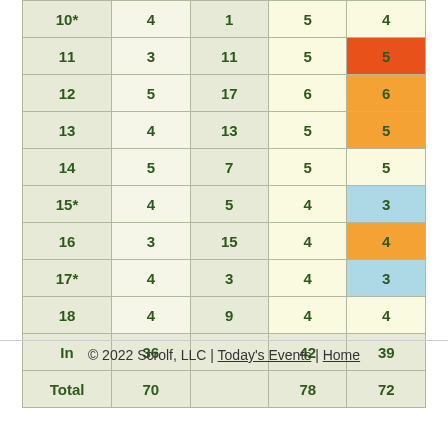| Hole |  |  | Score | Result |
| --- | --- | --- | --- | --- |
| 10* | 4 | 1 | 5 | 4 |
| 11 | 3 | 11 | 5 | 5 |
| 12 | 5 | 17 | 6 | 6 |
| 13 | 4 | 13 | 5 | 5 |
| 14 | 5 | 7 | 5 | 5 |
| 15* | 4 | 5 | 4 | 3 |
| 16 | 3 | 15 | 4 | 4 |
| 17* | 4 | 3 | 4 | 3 |
| 18 | 4 | 9 | 4 | 4 |
| In | 36 |  | 42 | 39 |
| Total | 70 |  | 78 | 72 |
© 2022 Scrolf, LLC | Today's Events | Home